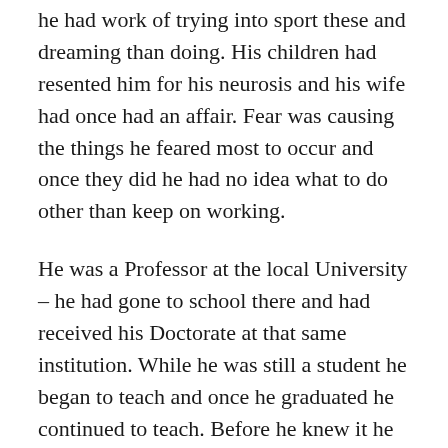he had work of trying into sport these and dreaming than doing. His children had resented him for his neurosis and his wife had once had an affair. Fear was causing the things he feared most to occur and once they did he had no idea what to do other than keep on working.
He was a Professor at the local University – he had gone to school there and had received his Doctorate at that same institution. While he was still a student he began to teach and once he graduated he continued to teach. Before he knew it he had be given tenure and became the Chair of the English department making a six figure salary.